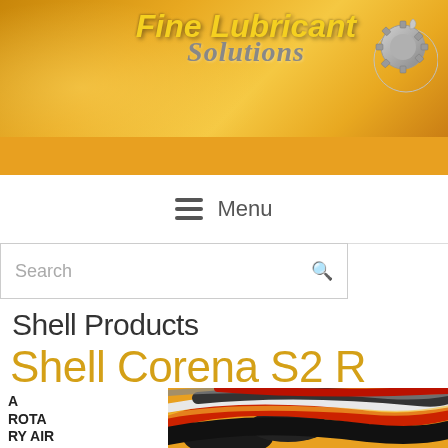[Figure (logo): Fine Lubricant Solutions company logo banner with golden/yellow gradient background and gear icon]
Menu
Search
Shell Products
Shell Corena S2 R
A ROTARY AIR COMPRESSOR OIL
[Figure (photo): Close-up photo of colorful cables or tubes, showing yellow, black, red and silver colors]